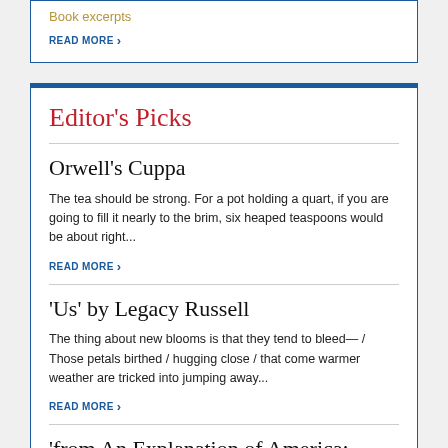Book excerpts
READ MORE
Editor's Picks
Orwell's Cuppa
The tea should be strong. For a pot holding a quart, if you are going to fill it nearly to the brim, six heaped teaspoons would be about right...
READ MORE
'Us' by Legacy Russell
The thing about new blooms is that they tend to bleed— / Those petals birthed / hugging close / that come warmer weather are tricked into jumping away...
READ MORE
'from An Explanation of America: